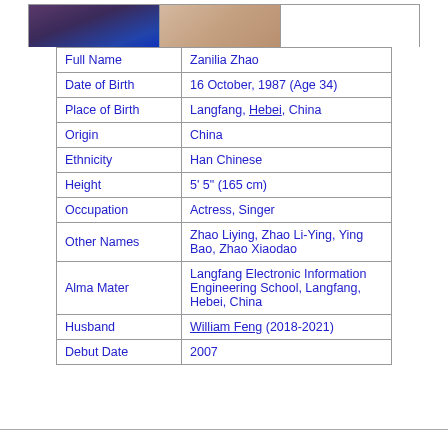[Figure (photo): Two portrait photos side by side: left shows a person with dark hair in blue clothing, right shows a close-up of a person's face]
| Full Name | Zanilia Zhao |
| Date of Birth | 16 October, 1987 (Age 34) |
| Place of Birth | Langfang, Hebei, China |
| Origin | China |
| Ethnicity | Han Chinese |
| Height | 5' 5" (165 cm) |
| Occupation | Actress, Singer |
| Other Names | Zhao Liying, Zhao Li-Ying, Ying Bao, Zhao Xiaodao |
| Alma Mater | Langfang Electronic Information Engineering School, Langfang, Hebei, China |
| Husband | William Feng (2018-2021) |
| Debut Date | 2007 |